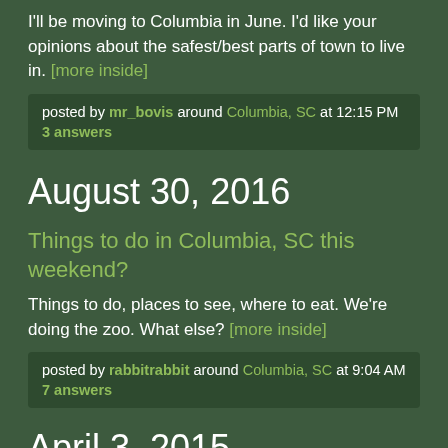I'll be moving to Columbia in June. I'd like your opinions about the safest/best parts of town to live in. [more inside]
posted by mr_bovis around Columbia, SC at 12:15 PM
3 answers
August 30, 2016
Things to do in Columbia, SC this weekend?
Things to do, places to see, where to eat. We're doing the zoo. What else? [more inside]
posted by rabbitrabbit around Columbia, SC at 9:04 AM
7 answers
April 3, 2015